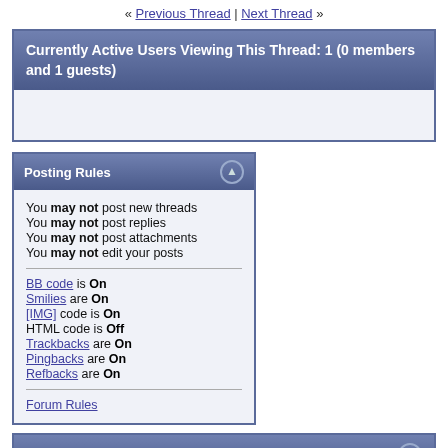« Previous Thread | Next Thread »
Currently Active Users Viewing This Thread: 1 (0 members and 1 guests)
Posting Rules
You may not post new threads
You may not post replies
You may not post attachments
You may not edit your posts
BB code is On
Smilies are On
[IMG] code is On
HTML code is Off
Trackbacks are On
Pingbacks are On
Refbacks are On
Forum Rules
Similar Threads
| Thread | Thread Starter | Forum | Replies | Last Post |
| --- | --- | --- | --- | --- |
| Lower grill and |  |  |  | 06 Jul |